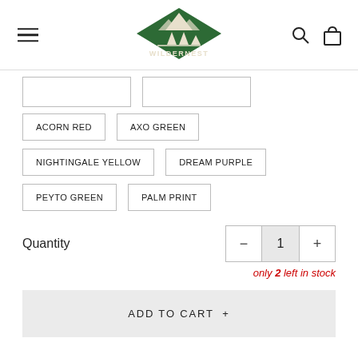[Figure (logo): Wildernest outdoor brand logo — green diamond shape with mountain peaks and pine trees, text WILDERNEST]
ACORN RED
AXO GREEN
NIGHTINGALE YELLOW
DREAM PURPLE
PEYTO GREEN
PALM PRINT
Quantity  1  only 2 left in stock
ADD TO CART +